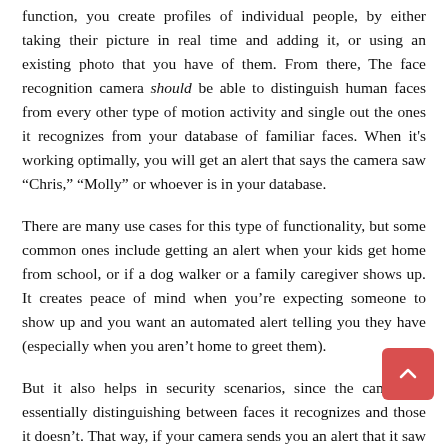function, you create profiles of individual people, by either taking their picture in real time and adding it, or using an existing photo that you have of them. From there, The face recognition camera should be able to distinguish human faces from every other type of motion activity and single out the ones it recognizes from your database of familiar faces. When it's working optimally, you will get an alert that says the camera saw “Chris,” “Molly” or whoever is in your database.
There are many use cases for this type of functionality, but some common ones include getting an alert when your kids get home from school, or if a dog walker or a family caregiver shows up. It creates peace of mind when you're expecting someone to show up and you want an automated alert telling you they have (especially when you aren't home to greet them).
But it also helps in security scenarios, since the camera is essentially distinguishing between faces it recognizes and those it doesn't. That way, if your camera sends you an alert that it saw someone on your front porch or walking into your house, but you don't recognize them